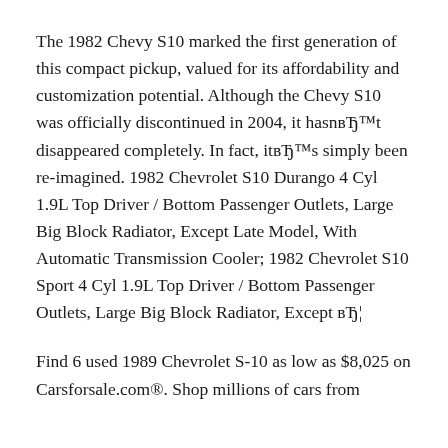The 1982 Chevy S10 marked the first generation of this compact pickup, valued for its affordability and customization potential. Although the Chevy S10 was officially discontinued in 2004, it hasnвЂ™t disappeared completely. In fact, itвЂ™s simply been re-imagined. 1982 Chevrolet S10 Durango 4 Cyl 1.9L Top Driver / Bottom Passenger Outlets, Large Big Block Radiator, Except Late Model, With Automatic Transmission Cooler; 1982 Chevrolet S10 Sport 4 Cyl 1.9L Top Driver / Bottom Passenger Outlets, Large Big Block Radiator, Except вЂ¦
Find 6 used 1989 Chevrolet S-10 as low as $8,025 on Carsforsale.com®. Shop millions of cars from...